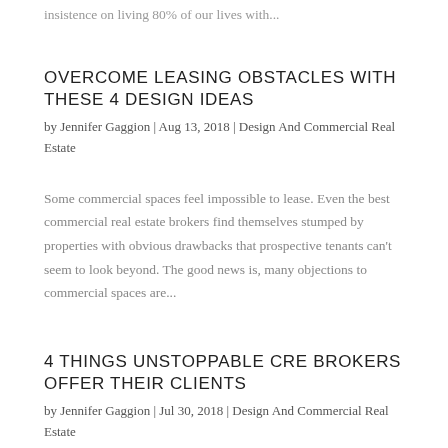insistence on living 80% of our lives with...
OVERCOME LEASING OBSTACLES WITH THESE 4 DESIGN IDEAS
by Jennifer Gaggion | Aug 13, 2018 | Design And Commercial Real Estate
Some commercial spaces feel impossible to lease. Even the best commercial real estate brokers find themselves stumped by properties with obvious drawbacks that prospective tenants can't seem to look beyond. The good news is, many objections to commercial spaces are...
4 THINGS UNSTOPPABLE CRE BROKERS OFFER THEIR CLIENTS
by Jennifer Gaggion | Jul 30, 2018 | Design And Commercial Real Estate
Every commercial real estate broker has a different way